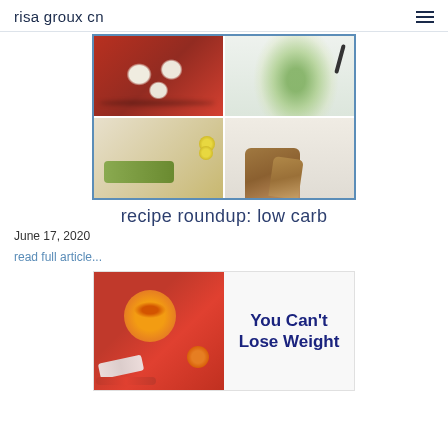risa groux cn
[Figure (photo): Four-panel grid of low carb food photos: eggs in skillet, zucchini noodles on plate, avocado toast with lemon slices, toasted bread]
recipe roundup: low carb
June 17, 2020
read full article...
[Figure (photo): Image showing red dumbbells, measuring tape, and orange slices on left side; text 'You Can't Lose Weight' on right side with dark blue bold text on white background]